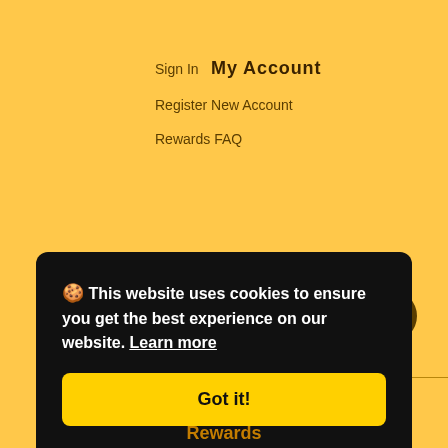Sign In  My Account
Register New Account
Rewards FAQ
[Figure (other): Social media icons row (Twitter, Facebook, Pinterest, Instagram) with 'Social' label above]
© 2022 Nuts Pick.
🍪 This website uses cookies to ensure you get the best experience on our website. Learn more
Got it!
Rewards